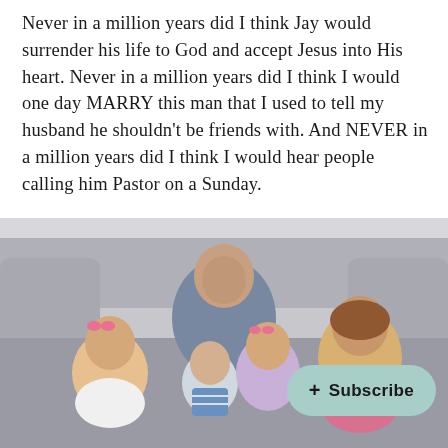Never in a million years did I think Jay would surrender his life to God and accept Jesus into His heart. Never in a million years did I think I would one day MARRY this man that I used to tell my husband he shouldn't be friends with. And NEVER in a million years did I think I would hear people calling him Pastor on a Sunday.
[Figure (photo): A smiling man sitting on a gray couch with four young children — three girls and a baby — all posed together and smiling at the camera.]